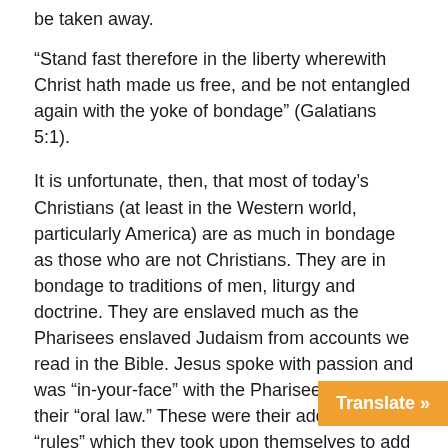be taken away.
“Stand fast therefore in the liberty wherewith Christ hath made us free, and be not entangled again with the yoke of bondage” (Galatians 5:1).
It is unfortunate, then, that most of today’s Christians (at least in the Western world, particularly America) are as much in bondage as those who are not Christians. They are in bondage to traditions of men, liturgy and doctrine. They are enslaved much as the Pharisees enslaved Judaism from accounts we read in the Bible. Jesus spoke with passion and was “in-your-face” with the Pharisees about their “oral law.” These were their additional “rules” which they took upon themselves to add to that which was given by God to guide Israel.
This is very unfortunate, especially considering what we see unfolding not only across the world but here in America. This is a nation that was founded upon biblical principles and laws. Our founding fathers took these and crafted documents that reflect this. Do